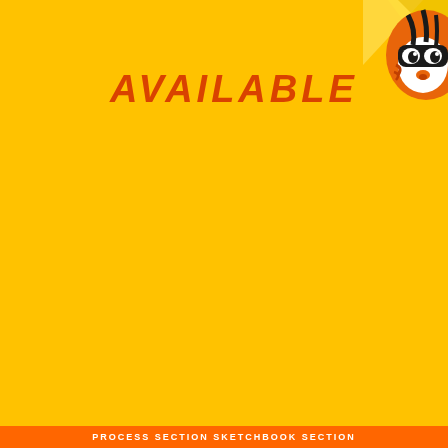AVAILABLE
[Figure (illustration): Cartoon tiger face peeking from the top-right corner, showing eyes with glasses/mask, orange and black stripes, with yellow geometric star/triangle shapes behind it on a bright yellow background]
PROCESS SECTION  SKETCHBOOK SECTION